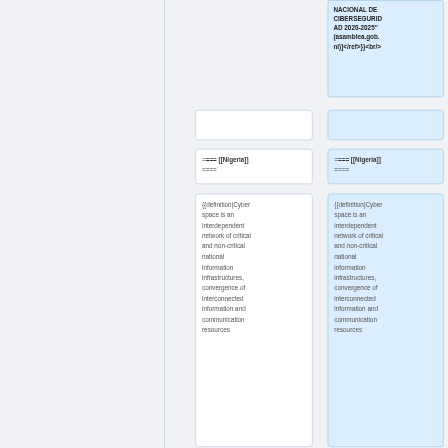NACIONAL DE CIBERSEGURID AD 2020-2025" (asamblea.gob. ni)]</ref>}}<br/>
==== [[Nigeria]] ====
==== [[Nigeria]] ====
{{definition|Cyber space is an interdependent network of critical and non-critical national information infrastructures, convergence of interconnected information and communication resources
{{definition|Cyber space is an interdependent network of critical and non-critical national information infrastructures, convergence of interconnected information and communication resources